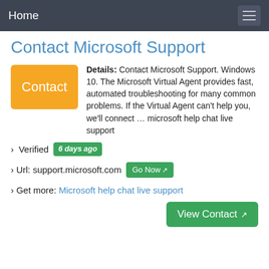Home
Contact Microsoft Support
Details: Contact Microsoft Support. Windows 10. The Microsoft Virtual Agent provides fast, automated troubleshooting for many common problems. If the Virtual Agent can't help you, we'll connect … microsoft help chat live support
› Verified 6 days ago
› Url: support.microsoft.com Go Now
› Get more: Microsoft help chat live support
View Contact